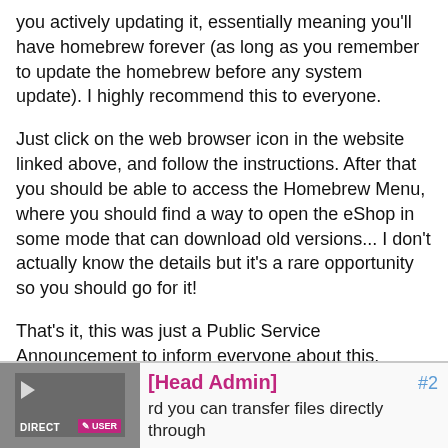you actively updating it, essentially meaning you'll have homebrew forever (as long as you remember to update the homebrew before any system update). I highly recommend this to everyone.
Just click on the web browser icon in the website linked above, and follow the instructions. After that you should be able to access the Homebrew Menu, where you should find a way to open the eShop in some mode that can download old versions... I don't actually know the details but it's a rare opportunity so you should go for it!
That's it, this was just a Public Service Announcement to inform everyone about this.
Posted 7 years ago
[Head Admin] #2
rd you can transfer files directly through